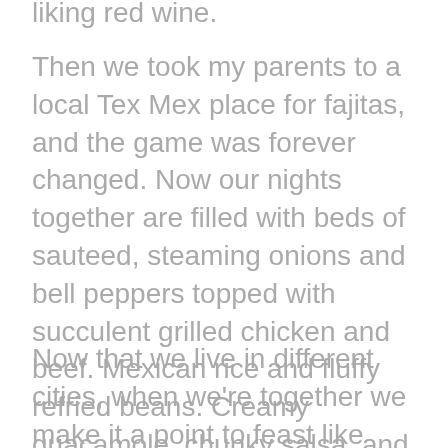liking red wine.
Then we took my parents to a local Tex Mex place for fajitas, and the game was forever changed. Now our nights together are filled with beds of sauteed, steaming onions and bell peppers topped with succulent grilled chicken and beef. Mexican rice and fluffy refried beans. Creamy guacamole, chunky salsa, and iceberg lettuce that will go untouched by everyone but my mom.
Now that we live in different cities, when we're together we make it a point to feast like reyes (that's kings in Spanish. Gracias